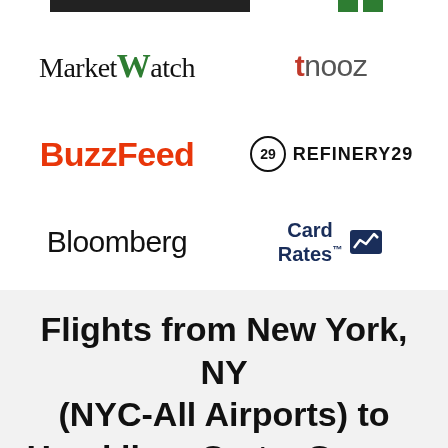[Figure (logo): MarketWatch logo]
[Figure (logo): tnooz logo]
[Figure (logo): BuzzFeed logo]
[Figure (logo): Refinery29 logo]
[Figure (logo): Bloomberg logo]
[Figure (logo): CardRates logo]
Flights from New York, NY (NYC-All Airports) to Heraklion, Crete, Greece